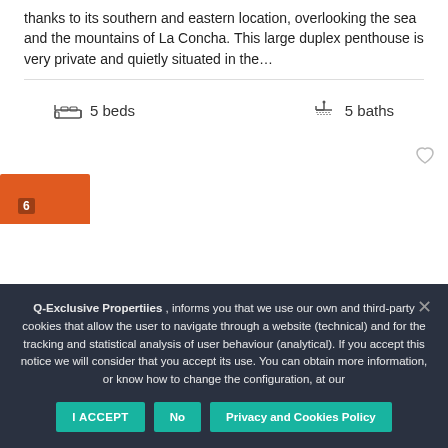thanks to its southern and eastern location, overlooking the sea and the mountains of La Concha. This large duplex penthouse is very private and quietly situated in the...
5 beds
5 baths
[Figure (photo): Partial view of an orange building with blue sky and clouds]
Q-Exclusive Propertiies , informs you that we use our own and third-party cookies that allow the user to navigate through a website (technical) and for the tracking and statistical analysis of user behaviour (analytical). If you accept this notice we will consider that you accept its use. You can obtain more information, or know how to change the configuration, at our
I ACCEPT
No
Privacy and Cookies Policy